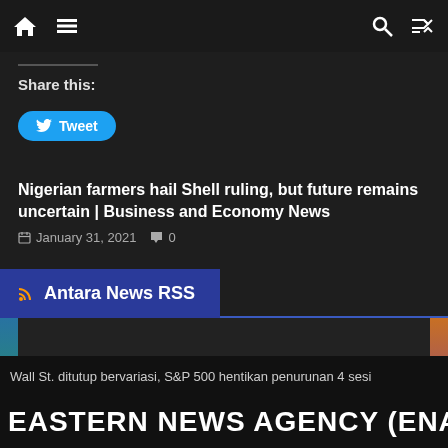Navigation bar with home, menu, search, and random icons
Share this:
Tweet
Nigerian farmers hail Shell ruling, but future remains uncertain | Business and Economy News
January 31, 2021   0
Antara News RSS
Wall St. ditutup bervariasi, S&P 500 hentikan penurunan 4 sesi
EASTERN NEWS AGENCY (ENA)
penjualan Hyundai pada Agustus naik 12 persen di tengah...